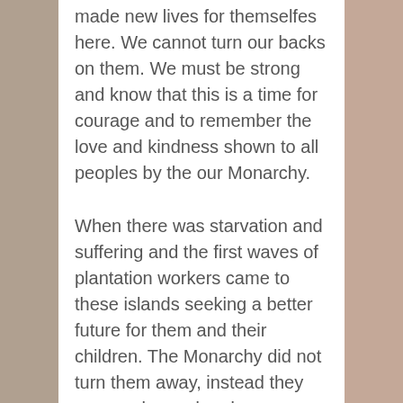made new lives for themselfes here. We cannot turn our backs on them. We must be strong and know that this is a time for courage and to remember the love and kindness shown to all peoples by the our Monarchy.
When there was starvation and suffering and the first waves of plantation workers came to these islands seeking a better future for them and their children. The Monarchy did not turn them away, instead they were welcomed and many became citizens and leaders in the Hawaiian